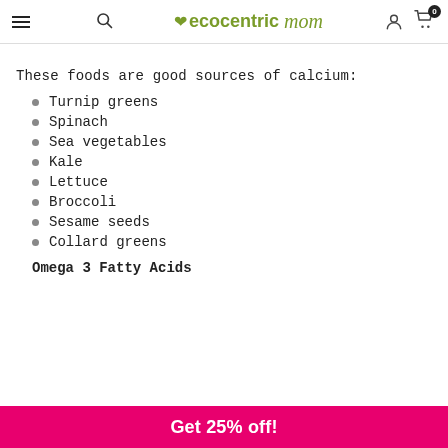ecocentric mom — navigation header
These foods are good sources of calcium:
Turnip greens
Spinach
Sea vegetables
Kale
Lettuce
Broccoli
Sesame seeds
Collard greens
Omega 3 Fatty Acids
Get 25% off!